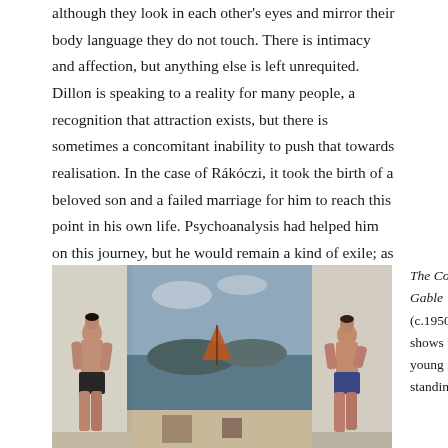although they look in each other's eyes and mirror their body language they do not touch. There is intimacy and affection, but anything else is left unrequited. Dillon is speaking to a reality for many people, a recognition that attraction exists, but there is sometimes a concomitant inability to push that towards realisation. In the case of Rákóczi, it took the birth of a beloved son and a failed marriage for him to reach this point in his own life. Psychoanalysis had helped him on this journey, but he would remain a kind of exile; as after the war, he did not settle in London but made his home in Paris.
[Figure (photo): Painting 'The Cottage Gable' (c.1950) showing two young men standing in front of white cottage walls with a coastal landscape visible between them.]
The Cottage Gable (c.1950) shows two young men standing in